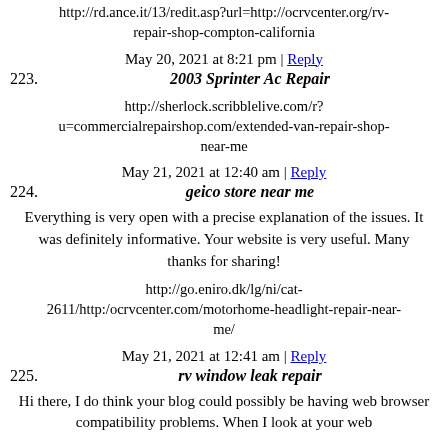http://rd.ance.it/13/redit.asp?url=http://ocrvcenter.org/rv-repair-shop-compton-california
May 20, 2021 at 8:21 pm | Reply
223. 2003 Sprinter Ac Repair
http://sherlock.scribblelive.com/r?u=commercialrepairshop.com/extended-van-repair-shop-near-me
May 21, 2021 at 12:40 am | Reply
224. geico store near me
Everything is very open with a precise explanation of the issues. It was definitely informative. Your website is very useful. Many thanks for sharing!
http://go.eniro.dk/lg/ni/cat-2611/http:/ocrvcenter.com/motorhome-headlight-repair-near-me/
May 21, 2021 at 12:41 am | Reply
225. rv window leak repair
Hi there, I do think your blog could possibly be having web browser compatibility problems. When I look at your web